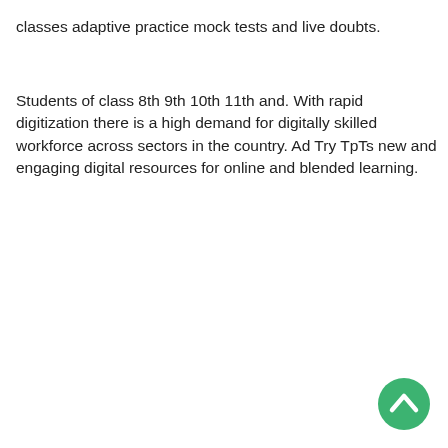classes adaptive practice mock tests and live doubts.
Students of class 8th 9th 10th 11th and. With rapid digitization there is a high demand for digitally skilled workforce across sectors in the country. Ad Try TpTs new and engaging digital resources for online and blended learning.
[Figure (other): Green circular scroll-to-top button with white upward chevron arrow, positioned in the bottom-right corner]